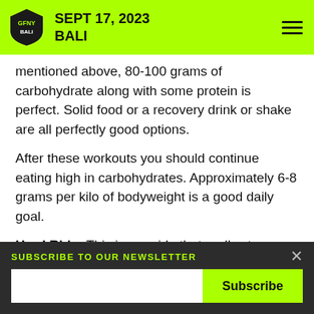GFNY BALI — SEPT 17, 2023 BALI
mentioned above, 80-100 grams of carbohydrate along with some protein is perfect. Solid food or a recovery drink or shake are all perfectly good options.
After these workouts you should continue eating high in carbohydrates. Approximately 6-8 grams per kilo of bodyweight is a good daily goal.
Hard Ride: This is any ride that really stresses you. It could be a long ride (3-5 hours or longer) or a long, difficult intensity workout like a hard
SUBSCRIBE TO OUR NEWSLETTER